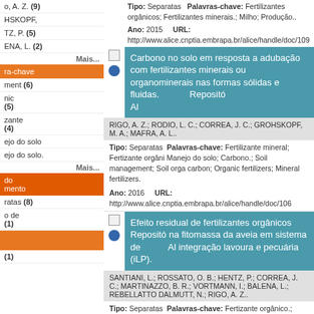Tipo: Separatas   Palavras-chave: Fertilizantes orgânicos; Fertilizantes minerais.; Milho; Produção..
Ano: 2015   URL: http://www.alice.cnptia.embrapa.br/alice/handle/doc/109
Carbono no solo em resposta a adubação com fertilizantes minerais ou organominerais nas formas sólidas e fluidas.   Repositó Al
RIGO, A. Z.; RODIO, L. C.; CORREA, J. C.; GROHSKOPF, M. A.; MAFRA, A. L..
Tipo: Separatas   Palavras-chave: Fertilizante mineral; Fertizante orgâni Manejo do solo; Carbono.; Soil management; Soil orga carbon; Organic fertilizers; Mineral fertilizers.
Ano: 2016   URL: http://www.alice.cnptia.embrapa.br/alice/handle/doc/106
Efeito residual de fertilizantes orgânicos na fitomassa da aveia em sistema de integração lavoura e pecuária (iLP).   Repositó Al
SANTIANI, L.; ROSSATO, O. B.; HENTZ, P.; CORREA, J. C.; MARTINAZZO, B. R.; VORTMANN, I.; BALENA, L.; REBELLATTO DALMUTT, N.; RIGO, A. Z..
Tipo: Separatas   Palavras-chave: Fertizante orgânico.; Manejo do solo.; management; Organic fertilizers.
Ano: 2016   URL: http://www.alice.cnptia.embrapa.br/alice/handle/doc/